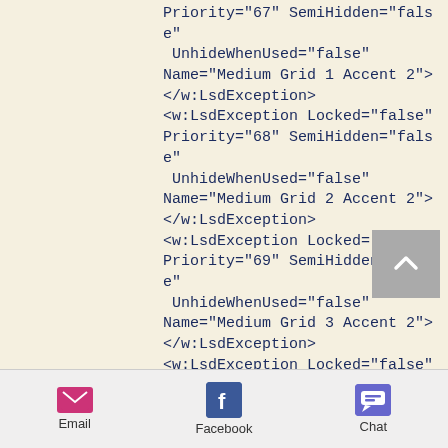Priority="67" SemiHidden="false" UnhideWhenUsed="false" Name="Medium Grid 1 Accent 2"> </w:LsdException> <w:LsdException Locked="false" Priority="68" SemiHidden="false" UnhideWhenUsed="false" Name="Medium Grid 2 Accent 2"> </w:LsdException> <w:LsdException Locked="false" Priority="69" SemiHidden="false" UnhideWhenUsed="false" Name="Medium Grid 3 Accent 2"> </w:LsdException> <w:LsdException Locked="false" Priority="70" SemiHidden="false" UnhideWhenUsed="false" Name="Dark
Email  Facebook  Chat